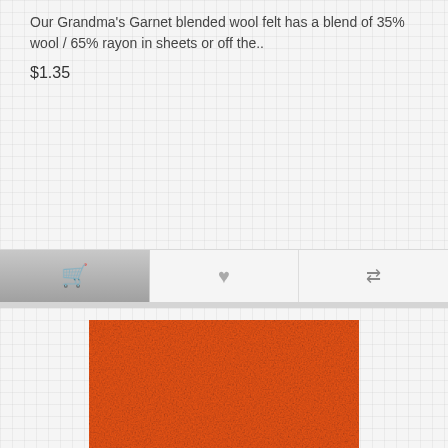Our Grandma's Garnet blended wool felt has a blend of 35% wool / 65% rayon in sheets or off the..
$1.35
[Figure (screenshot): Action buttons row with cart icon (active/dark), heart/wishlist icon, and compare icon]
[Figure (photo): Orange-red (Hallow's Eve) blended wool felt fabric swatch, square, textured surface]
Hallow's Eve wool felt
Our Hallow's Eve blended wool felt has a blend of 35% wool / 65% rayon in sheets or off the bol..